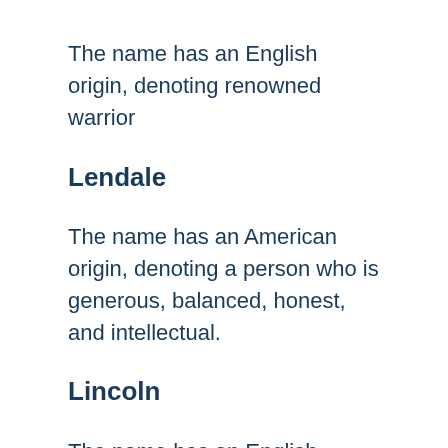The name has an English origin, denoting renowned warrior
Lendale
The name has an American origin, denoting a person who is generous, balanced, honest, and intellectual.
Lincoln
The name has an English origin, denoting town next to the lake
Louis